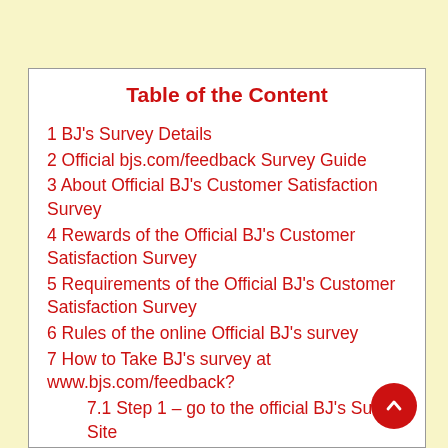Table of the Content
1 BJ's Survey Details
2 Official bjs.com/feedback Survey Guide
3 About Official BJ's Customer Satisfaction Survey
4 Rewards of the Official BJ's Customer Satisfaction Survey
5 Requirements of the Official BJ's Customer Satisfaction Survey
6 Rules of the online Official BJ's survey
7 How to Take BJ's survey at www.bjs.com/feedback?
7.1 Step 1 – go to the official BJ's Survey Site